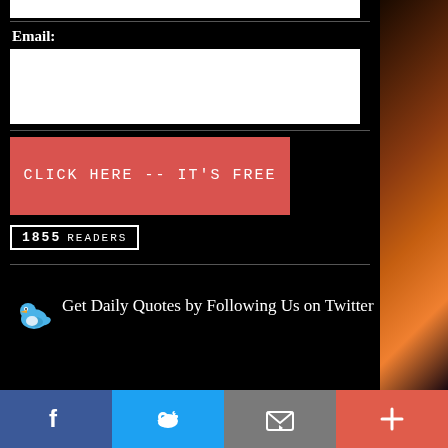Email:
[Figure (other): White input box for email address]
[Figure (other): Red button: CLICK HERE -- IT'S FREE]
1855 READERS
[Figure (illustration): Blue Twitter bird icon with text: Get Daily Quotes by Following Us on Twitter]
[Figure (other): Bottom social sharing bar with Facebook (blue), Twitter (light blue), Email/envelope (gray), and Plus (coral/red) icons]